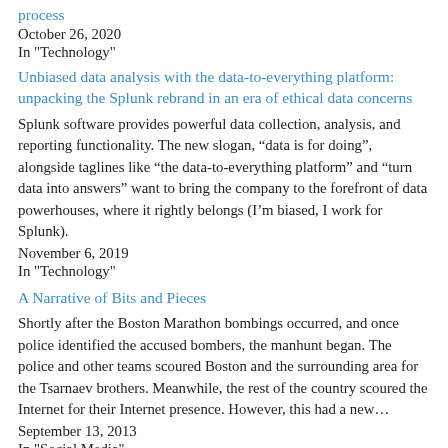process
October 26, 2020
In "Technology"
Unbiased data analysis with the data-to-everything platform: unpacking the Splunk rebrand in an era of ethical data concerns
Splunk software provides powerful data collection, analysis, and reporting functionality. The new slogan, “data is for doing”, alongside taglines like “the data-to-everything platform” and “turn data into answers” want to bring the company to the forefront of data powerhouses, where it rightly belongs (I’m biased, I work for Splunk).
November 6, 2019
In "Technology"
A Narrative of Bits and Pieces
Shortly after the Boston Marathon bombings occurred, and once police identified the accused bombers, the manhunt began. The police and other teams scoured Boston and the surrounding area for the Tsarnaev brothers. Meanwhile, the rest of the country scoured the Internet for their Internet presence. However, this had a new…
September 13, 2013
In "Social Media"